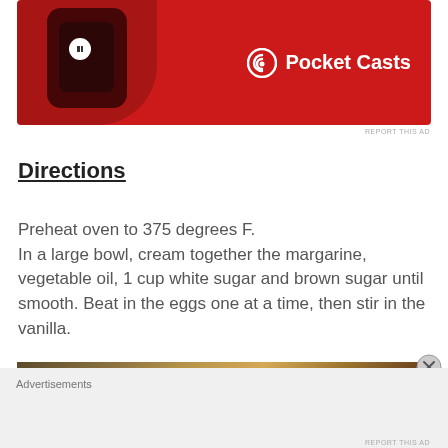[Figure (photo): Pocket Casts app advertisement banner showing a red smartphone with the app interface and Pocket Casts logo on a red background]
Directions
Preheat oven to 375 degrees F.
In a large bowl, cream together the margarine, vegetable oil, 1 cup white sugar and brown sugar until smooth. Beat in the eggs one at a time, then stir in the vanilla.
[Figure (photo): Close-up photo of cookie dough being creamed together in a mixing bowl, showing a tan/caramel colored mixture with visible mixing streaks]
Advertisements